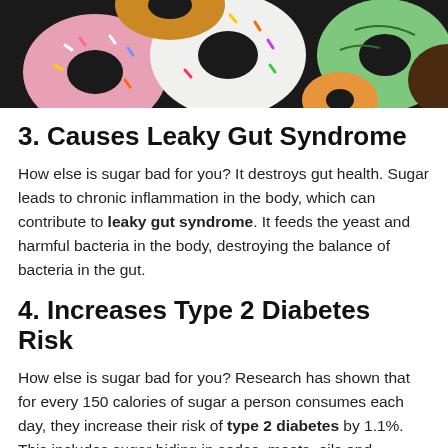[Figure (photo): Overhead photo of colorful frosted donuts with sprinkles on a dark background, including pink, white, green, and chocolate varieties]
3. Causes Leaky Gut Syndrome
How else is sugar bad for you? It destroys gut health. Sugar leads to chronic inflammation in the body, which can contribute to leaky gut syndrome. It feeds the yeast and harmful bacteria in the body, destroying the balance of bacteria in the gut.
4. Increases Type 2 Diabetes Risk
How else is sugar bad for you? Research has shown that for every 150 calories of sugar a person consumes each day, they increase their risk of type 2 diabetes by 1.1%. This includes sugar hiding in sodas, meats, oils and cereals, along with other foods and beverages. (2)
5. Increases the Risk of Certain